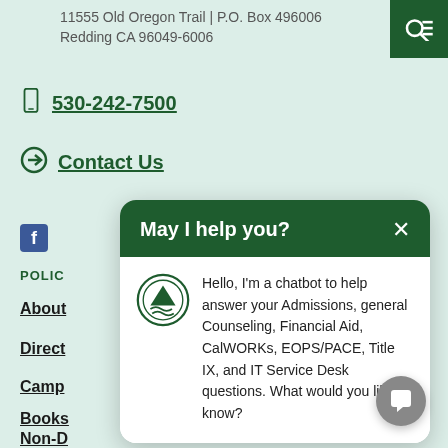11555 Old Oregon Trail | P.O. Box 496006
Redding CA 96049-6006
530-242-7500
Contact Us
POLIC
About
Direct
Camp
Books
Non-D
[Figure (screenshot): Chatbot popup window with header 'May I help you?' and chatbot message about Admissions, Counseling, Financial Aid, CalWORKs, EOPS/PACE, Title IX, and IT Service Desk questions.]